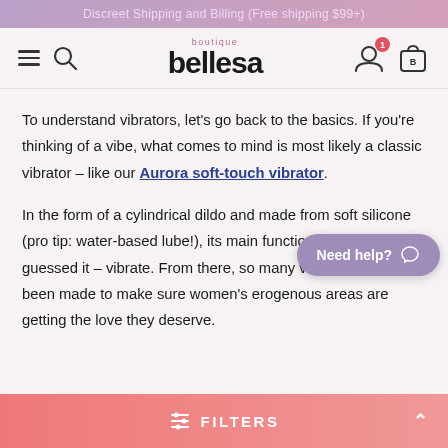Discreet Shipping and Billing (Free shipping $99+)
[Figure (logo): Bellesa Boutique logo with hamburger menu, search icon, user icon with badge '1', and shopping bag icon]
To understand vibrators, let's go back to the basics. If you're thinking of a vibe, what comes to mind is most likely a classic vibrator – like our Aurora soft-touch vibrator.
In the form of a cylindrical dildo and made from soft silicone (pro tip: water-based lube!), its main function is to – yup, you guessed it – vibrate. From there, so many variations have been made to make sure women's erogenous areas are getting the love they deserve.
FILTERS